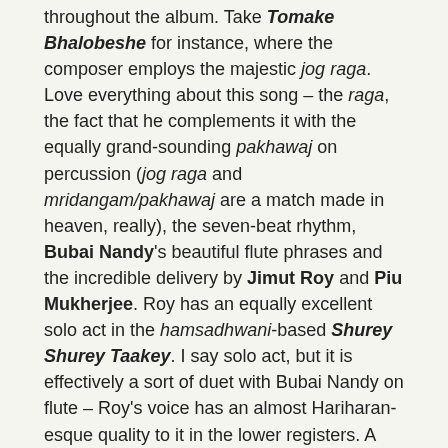throughout the album. Take Tomake Bhalobeshe for instance, where the composer employs the majestic jog raga. Love everything about this song – the raga, the fact that he complements it with the equally grand-sounding pakhawaj on percussion (jog raga and mridangam/pakhawaj are a match made in heaven, really), the seven-beat rhythm, Bubai Nandy's beautiful flute phrases and the incredible delivery by Jimut Roy and Piu Mukherjee. Roy has an equally excellent solo act in the hamsadhwani-based Shurey Shurey Taakey. I say solo act, but it is effectively a sort of duet with Bubai Nandy on flute – Roy's voice has an almost Hariharan-esque quality to it in the lower registers. A very happy listen overall, as is the raga's wont.
Pt. Tushar Dutta, Asmita Kar and Arunita Kanjilal get behind the mic for the haunting Aguun Chhoriye. Based on shuddh basant raga, this one is apparently a Holi-